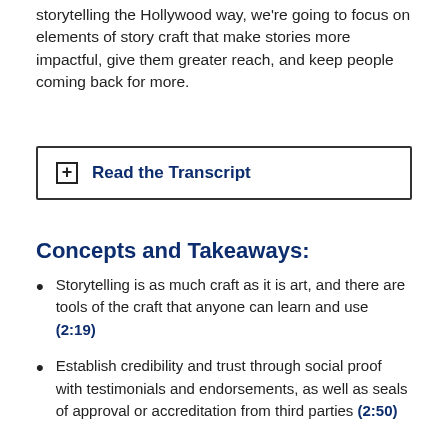storytelling the Hollywood way, we're going to focus on elements of story craft that make stories more impactful, give them greater reach, and keep people coming back for more.
Read the Transcript
Concepts and Takeaways:
Storytelling is as much craft as it is art, and there are tools of the craft that anyone can learn and use (2:19)
Establish credibility and trust through social proof with testimonials and endorsements, as well as seals of approval or accreditation from third parties (2:50)